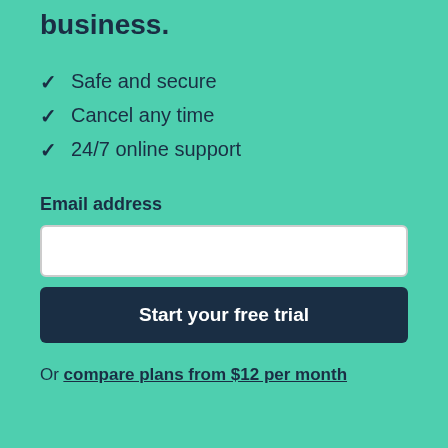business.
Safe and secure
Cancel any time
24/7 online support
Email address
Start your free trial
Or compare plans from $12 per month